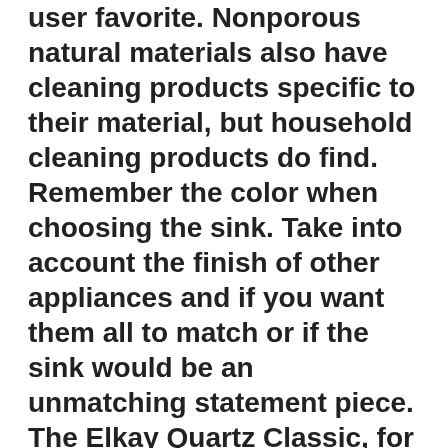user favorite. Nonporous natural materials also have cleaning products specific to their material, but household cleaning products do find. Remember the color when choosing the sink. Take into account the finish of other appliances and if you want them all to match or if the sink would be an unmatching statement piece. The Elkay Quartz Classic, for example, is available in various colors. FAQ Can a drop-in sink be undermounted? Drop-in sinks can be installed undermount, but it is not recommended. Drop-in sinks are not made to be installed this way and can suffer from not having the proper seal, resulting in water running over the side and causing more problems down the line. What kind of countertop an undermount sink is best suited for? The countertop you'd want to for an undermount